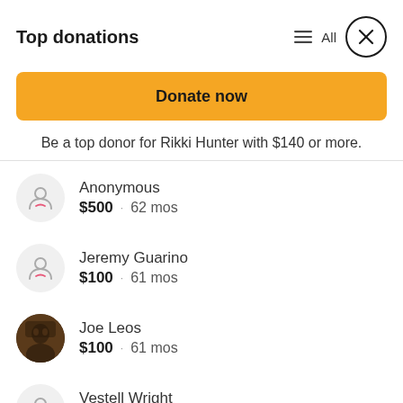Top donations
All
Donate now
Be a top donor for Rikki Hunter with $140 or more.
Anonymous · $500 · 62 mos
Jeremy Guarino · $100 · 61 mos
Joe Leos · $100 · 61 mos
Vestell Wright · $100 · 62 mos